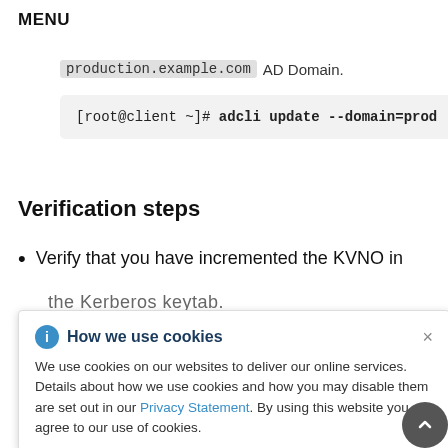MENU
production.example.com AD Domain.
[root@client ~]# adcli update --domain=prod
Verification steps
Verify that you have incremented the KVNO in the Kerberos keytab.
[Figure (screenshot): Cookie consent popup dialog with title 'How we use cookies', close button (×), and body text explaining cookie usage with a link to Privacy Statement.]
rb5.keytab.
ab.producti
----------
LE.COM (ae
LE.COM (ac